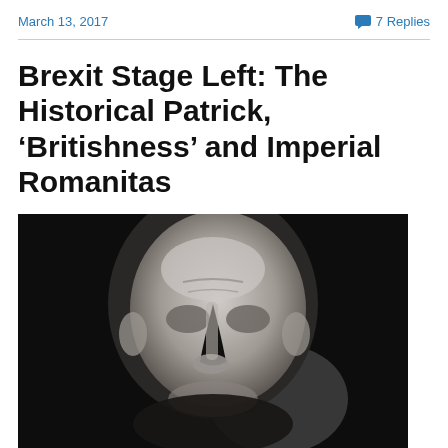March 13, 2017    7 Replies
Brexit Stage Left: The Historical Patrick, ‘Britishness’ and Imperial Romanitas
[Figure (photo): Black and white close-up photograph of a stone or marble bust/statue of a Roman or ancient figure, showing the face and head from a low angle against a dark background with a blurred light spot.]